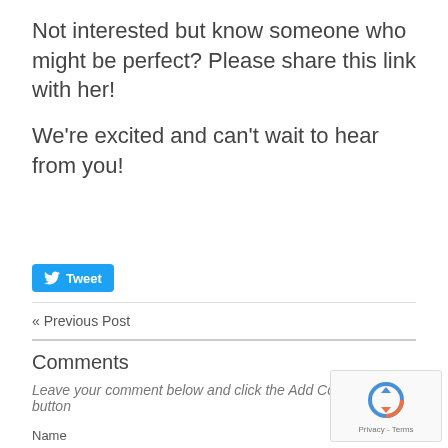Not interested but know someone who might be perfect? Please share this link with her!
We're excited and can't wait to hear from you!
[Figure (other): Tweet button with Twitter bird icon]
« Previous Post
Comments
Leave your comment below and click the Add Comment button
Name
[Figure (other): reCAPTCHA widget with spinning arrows icon and Privacy - Terms text]